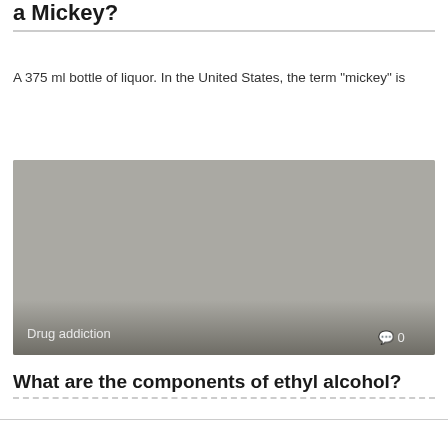a Mickey?
A 375 ml bottle of liquor. In the United States, the term “mickey” is
[Figure (photo): A gray placeholder image with a gradient overlay at the bottom. Label reads 'Drug addiction' on the left and a comment icon with '0' on the right.]
What are the components of ethyl alcohol?
Ethanol is composed of two carbon atoms, six hydrogen atoms, and one oxygen atom.